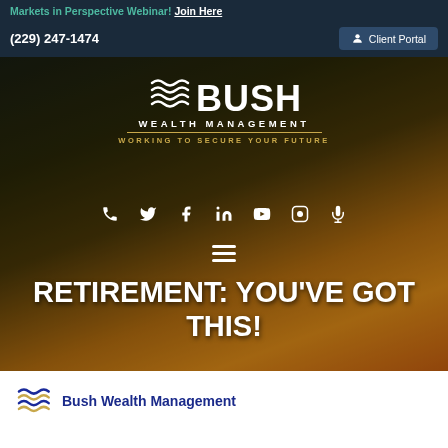Markets in Perspective Webinar! Join Here
(229) 247-1474
Client Portal
[Figure (logo): Bush Wealth Management logo with wave graphic, tagline WORKING TO SECURE YOUR FUTURE, over aerial city photo with sunset background]
RETIREMENT: YOU'VE GOT THIS!
[Figure (logo): Bush Wealth Management small logo with wave icon in footer strip]